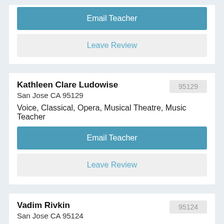Email Teacher
Leave Review
Kathleen Clare Ludowise
95129
San Jose CA 95129
Voice, Classical, Opera, Musical Theatre, Music Teacher
Email Teacher
Leave Review
Vadim Rivkin
95124
San Jose CA 95124
Piano, Composition, Music Lessons
Email Teacher
Leave Review